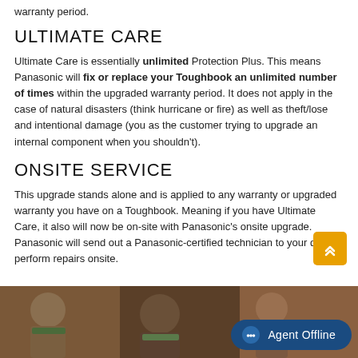warranty period.
ULTIMATE CARE
Ultimate Care is essentially unlimited Protection Plus. This means Panasonic will fix or replace your Toughbook an unlimited number of times within the upgraded warranty period. It does not apply in the case of natural disasters (think hurricane or fire) as well as theft/lose and intentional damage (you as the customer trying to upgrade an internal component when you shouldn't).
ONSITE SERVICE
This upgrade stands alone and is applied to any warranty or upgraded warranty you have on a Toughbook. Meaning if you have Ultimate Care, it also will now be on-site with Panasonic's onsite upgrade. Panasonic will send out a Panasonic-certified technician to your door to perform repairs onsite.
[Figure (photo): Photo strip at bottom showing people in outdoor/work gear]